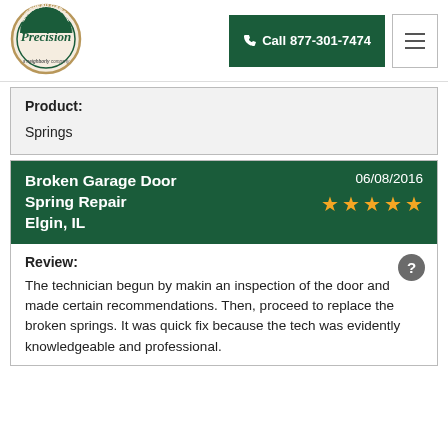[Figure (logo): Precision Overhead Garage Door Service logo — circular badge with text and a Neighbourly tagline]
Call 877-301-7474
Product:
Springs
Broken Garage Door Spring Repair Elgin, IL
06/08/2016
★★★★★
Review:
The technician begun by makin an inspection of the door and made certain recommendations. Then, proceed to replace the broken springs. It was quick fix because the tech was evidently knowledgeable and professional.